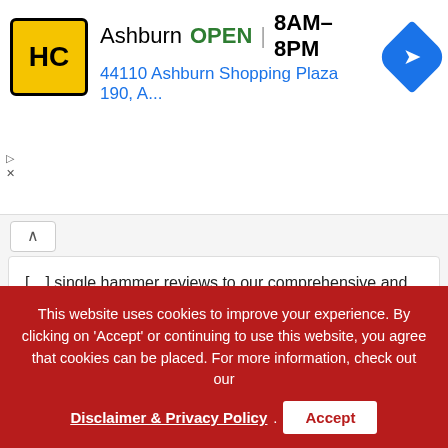[Figure (other): Ad banner: HC logo (yellow/black), Ashburn OPEN 8AM-8PM, address 44110 Ashburn Shopping Plaza 190 A..., navigation arrow icon]
[…] single hammer reviews to our comprehensive and grueling head to head multiple hammer review we call HAMMER TIME! Hands down we have crowned Stiletto titanium hammers the champion of […]
Reply
Michael H.
November 19, 2015 at 9:58 pm
This website uses cookies to improve your experience. By clicking on 'Accept' or continuing to use this website, you agree that cookies can be placed. For more information, check out our
Disclaimer & Privacy Policy . Accept